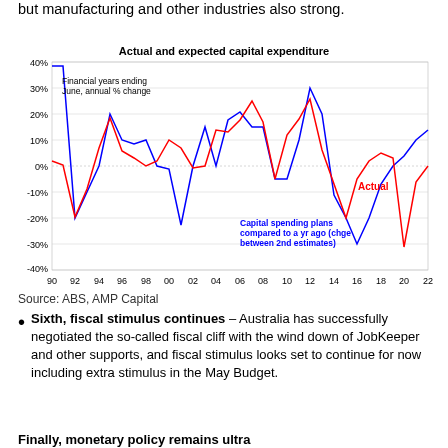but manufacturing and other industries also strong.
[Figure (line-chart): Line chart showing actual (red) and expected/capital spending plans compared to a year ago (blue) capital expenditure from 1990 to 2022, annual % change. Y-axis: -40% to 40%. X-axis: 90 to 22 (financial years ending June).]
Source: ABS, AMP Capital
Sixth, fiscal stimulus continues – Australia has successfully negotiated the so-called fiscal cliff with the wind down of JobKeeper and other supports, and fiscal stimulus looks set to continue for now including extra stimulus in the May Budget.
Finally, monetary policy remains ultra